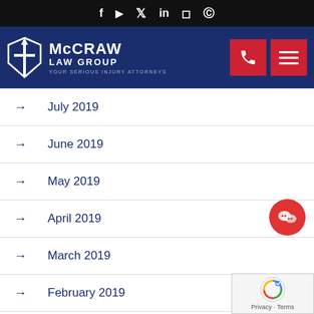[Figure (screenshot): Social media icons bar (Facebook, YouTube, Twitter, LinkedIn, Instagram, Pinterest) on black background]
[Figure (logo): McCraw Law Group logo - white sword/shield emblem with text 'McCRAW LAW GROUP YOUR SERIOUS INJURY ATTORNEYS' on dark navy background, with red phone button and red hamburger menu button]
July 2019
June 2019
May 2019
April 2019
March 2019
February 2019
January 2019
November 2018